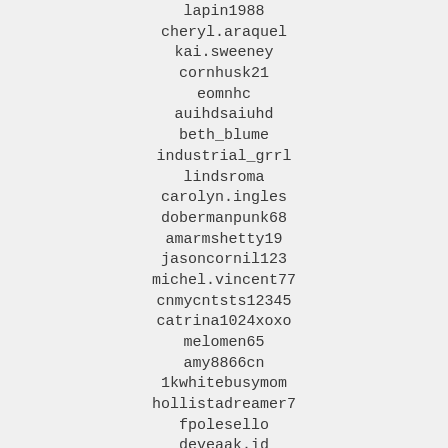lapin1988
cheryl.araquel
kai.sweeney
cornhusk21
eomnhc
auihdsaiuhd
beth_blume
industrial_grrl
lindsroma
carolyn.ingles
dobermanpunk68
amarmshetty19
jasoncornil123
michel.vincent77
cnmycntsts12345
catrina1024xoxo
melomen65
amy8866cn
1kwhitebusymom
hollistadreamer7
fpolesello
deveaak.id
lol.madsen
jeeexter993